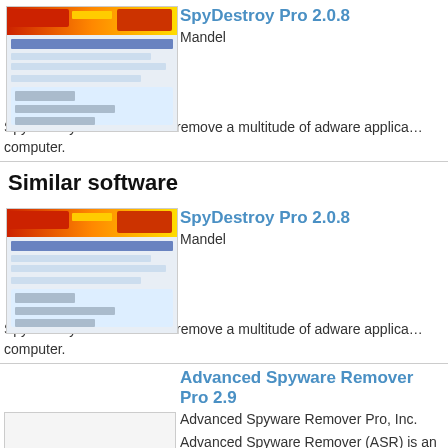[Figure (screenshot): SpyDestroy Pro software box screenshot thumbnail]
SpyDestroy Pro 2.0.8
Mandel
SpyDestroy can detect and remove a multitude of adware applications from your computer.
Similar software
[Figure (screenshot): SpyDestroy Pro software box screenshot thumbnail]
SpyDestroy Pro 2.0.8
Mandel
SpyDestroy can detect and remove a multitude of adware applications from your computer.
Advanced Spyware Remover Pro 2.9
Advanced Spyware Remover Pro, Inc.
[Figure (other): No image placeholder]
Advanced Spyware Remover (ASR) is an advanced but easy-to-use security solution that will protect your computer against stealthy spyware, aggressive adware, browser hijackers, Malware Trojans, tracking cookies, keyloggers, dialers, and other malware.